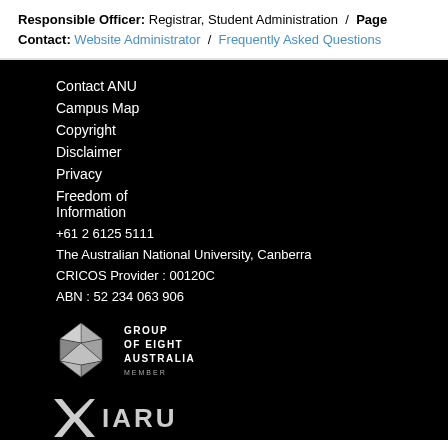Responsible Officer: Registrar, Student Administration / Page Contact: Website Administrator / Frequently Asked Questions
Contact ANU
Campus Map
Copyright
Disclaimer
Privacy
Freedom of Information
+61 2 6125 5111
The Australian National University, Canberra
CRICOS Provider : 00120C
ABN : 52 234 063 906
[Figure (logo): Group of Eight Australia Member logo - geometric diamond shape made of triangular facets in white/grey, with text GROUP OF EIGHT AUSTRALIA MEMBER]
[Figure (logo): IARU logo - stylized X shape with IARU text in grey/white]